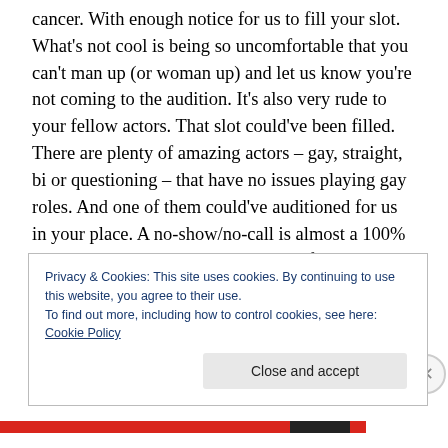cancer. With enough notice for us to fill your slot. What's not cool is being so uncomfortable that you can't man up (or woman up) and let us know you're not coming to the audition. It's also very rude to your fellow actors. That slot could've been filled. There are plenty of amazing actors – gay, straight, bi or questioning – that have no issues playing gay roles. And one of them could've auditioned for us in your place. A no-show/no-call is almost a 100% guarantee that you won't be called in for anything in the future. Again, as indies, we don't always carry insurance on the actors and I simply can't risk someone flaking and
Privacy & Cookies: This site uses cookies. By continuing to use this website, you agree to their use.
To find out more, including how to control cookies, see here: Cookie Policy